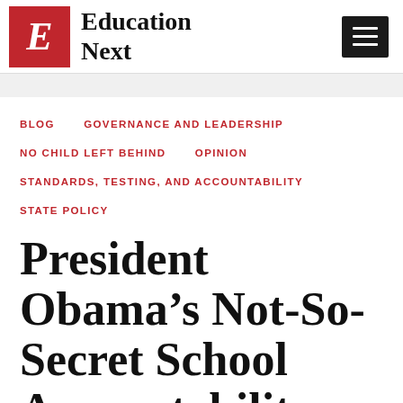Education Next
BLOG
GOVERNANCE AND LEADERSHIP
NO CHILD LEFT BEHIND
OPINION
STANDARDS, TESTING, AND ACCOUNTABILITY
STATE POLICY
President Obama's Not-So-Secret School Accountability Plan